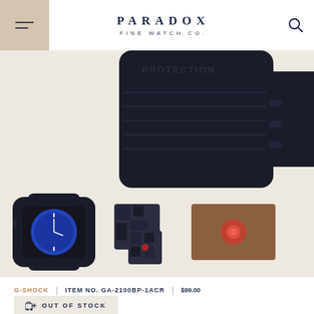PARADOX FINE WATCH CO.
[Figure (photo): Close-up of a black G-Shock watch case and band showing 'PROTECTION' text embossed on the band, displayed on a beige/cream background]
[Figure (photo): Thumbnail gallery showing three product images: a black G-Shock watch with blue dial, a black patterned cube/box set, and a brown/reddish square package]
G-SHOCK | ITEM NO. GA-2100BP-1ACR | $99.00
OUT OF STOCK